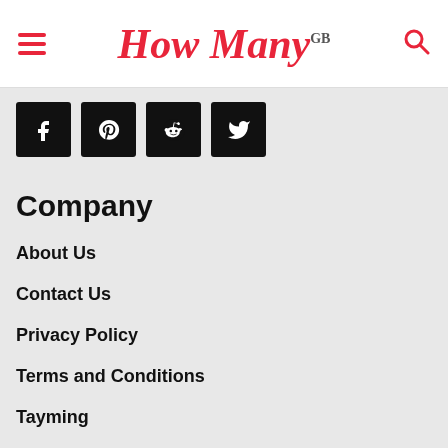How Many GB
[Figure (other): Social media share buttons: Facebook, Pinterest, Reddit, Twitter]
Company
About Us
Contact Us
Privacy Policy
Terms and Conditions
Tayming
Kedi isimleri
Köpek isimleri
The latest